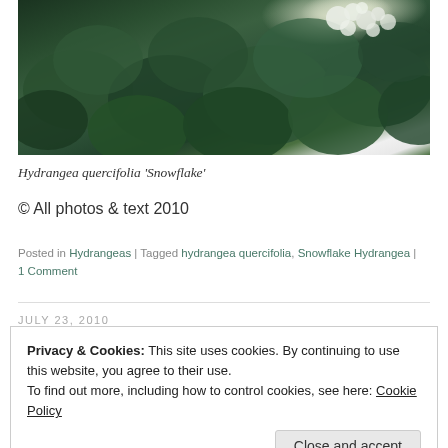[Figure (photo): Close-up photograph of Hydrangea quercifolia 'Snowflake' with large dark green leaves and white flower clusters visible at the top]
Hydrangea quercifolia 'Snowflake'
© All photos & text 2010
Posted in Hydrangeas | Tagged hydrangea quercifolia, Snowflake Hydrangea | 1 Comment
JULY 23, 2010
Privacy & Cookies: This site uses cookies. By continuing to use this website, you agree to their use.
To find out more, including how to control cookies, see here: Cookie Policy
Close and accept
I have to confess I always found the blue mopheads rather